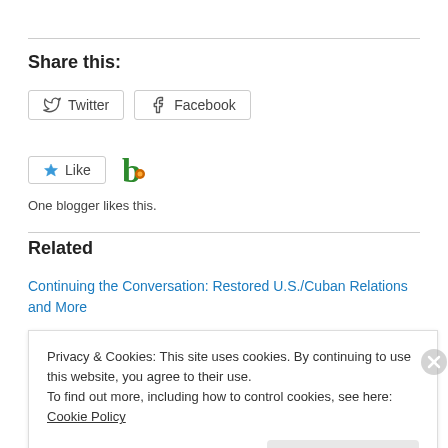Share this:
[Figure (other): Twitter and Facebook share buttons]
[Figure (other): Like button and blogger avatar icon]
One blogger likes this.
Related
Continuing the Conversation: Restored U.S./Cuban Relations and More
Privacy & Cookies: This site uses cookies. By continuing to use this website, you agree to their use.
To find out more, including how to control cookies, see here: Cookie Policy
Close and accept